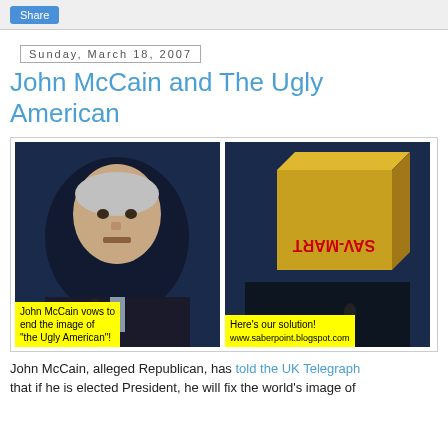Share
Sunday, March 18, 2007
John McCain and The Ugly American
[Figure (photo): Two-panel satirical image. Left panel: photo of John McCain speaking at a podium with caption 'John McCain vows to end the image of "the Ugly American"!'. Right panel: same background but McCain's head is replaced by a SAV-MART box (text shown mirrored/upside down), with caption 'Here's our solution! www.saberpoint.blogspot.com']
John McCain, alleged Republican, has told the UK Telegraph that if he is elected President, he will fix the world's image of